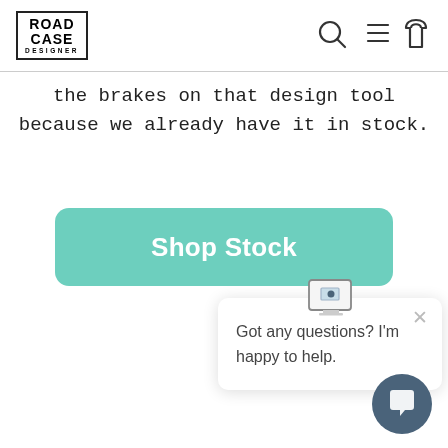[Figure (logo): Road Case Designer logo with bold text in a bordered box]
[Figure (infographic): Header icons: search magnifying glass, hamburger menu, shopping bag]
the brakes on that design tool because we already have it in stock.
[Figure (infographic): Teal/turquoise 'Shop Stock' call-to-action button]
[Figure (infographic): Chat widget popup with computer monitor icon, close X button, and text: Got any questions? I'm happy to help.]
[Figure (infographic): Dark blue-grey circular chat button in bottom right corner]